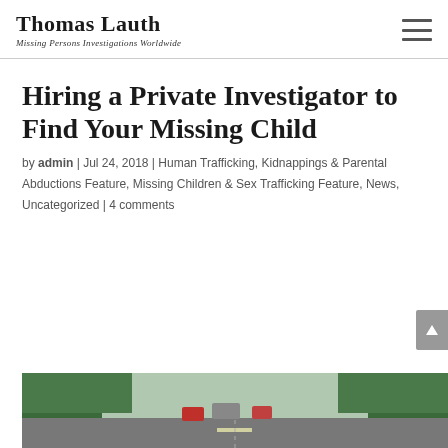Thomas Lauth | Missing Persons Investigations Worldwide
Hiring a Private Investigator to Find Your Missing Child
by admin | Jul 24, 2018 | Human Trafficking, Kidnappings & Parental Abductions Feature, Missing Children & Sex Trafficking Feature, News, Uncategorized | 4 comments
[Figure (photo): A road scene with trees on either side, vehicles visible, shot from above or at road level.]